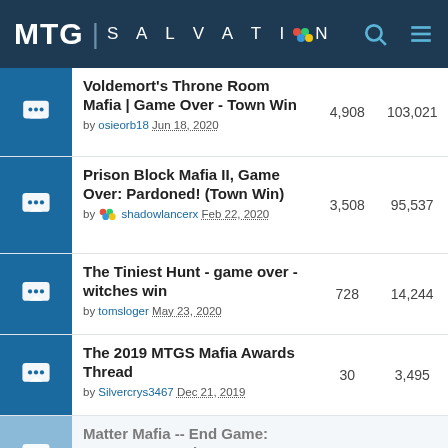MTG SALVATION
| Thread | Replies | Views |
| --- | --- | --- |
| Voldemort's Throne Room Mafia | Game Over - Town Win
by osieorb18 Jun 18, 2020 | 4,908 | 103,021 |
| Prison Block Mafia II, Game Over: Pardoned! (Town Win)
by shadowlancerx Feb 22, 2020 | 3,508 | 95,537 |
| The Tiniest Hunt - game over - witches win
by tomsloger May 23, 2020 | 728 | 14,244 |
| The 2019 MTGS Mafia Awards Thread
by Silvercrys3467 Dec 21, 2019 | 30 | 3,495 |
| Matter Mafia -- End Game: Sursamen Survives
by Silvercrys3467 Apr 11, 2020 | 3,857 | 76,803 |